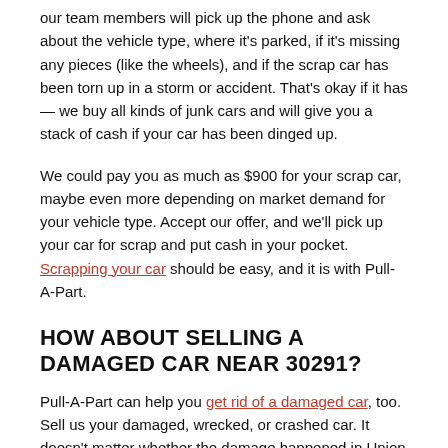our team members will pick up the phone and ask about the vehicle type, where it's parked, if it's missing any pieces (like the wheels), and if the scrap car has been torn up in a storm or accident. That's okay if it has — we buy all kinds of junk cars and will give you a stack of cash if your car has been dinged up.
We could pay you as much as $900 for your scrap car, maybe even more depending on market demand for your vehicle type. Accept our offer, and we'll pick up your car for scrap and put cash in your pocket. Scrapping your car should be easy, and it is with Pull-A-Part.
HOW ABOUT SELLING A DAMAGED CAR NEAR 30291?
Pull-A-Part can help you get rid of a damaged car, too. Sell us your damaged, wrecked, or crashed car. It doesn't matter whether the damage happened in Union City or not, or whether you were rear-ended or backed into a tree. Structural or frame damage? That's fine with us. We still pay cash for your banged up car. (That said, we typically pass on fire and flood damaged cars.)